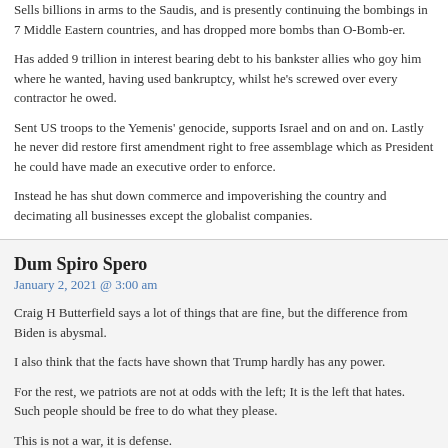Sells billions in arms to the Saudis, and is presently continuing the bombings in 7 Middle Eastern countries, and has dropped more bombs than O-Bomb-er.
Has added 9 trillion in interest bearing debt to his bankster allies who goy him where he wanted, having used bankruptcy, whilst he's screwed over every contractor he owed.
Sent US troops to the Yemenis' genocide, supports Israel and on and on. Lastly he never did restore first amendment right to free assemblage which as President he could have made an executive order to enforce.
Instead he has shut down commerce and impoverishing the country and decimating all businesses except the globalist companies.
Dum Spiro Spero
January 2, 2021 @ 3:00 am
Craig H Butterfield says a lot of things that are fine, but the difference from Biden is abysmal.
I also think that the facts have shown that Trump hardly has any power.
For the rest, we patriots are not at odds with the left; It is the left that hates. Such people should be free to do what they please.
This is not a war, it is defense.
Ted Gorsline